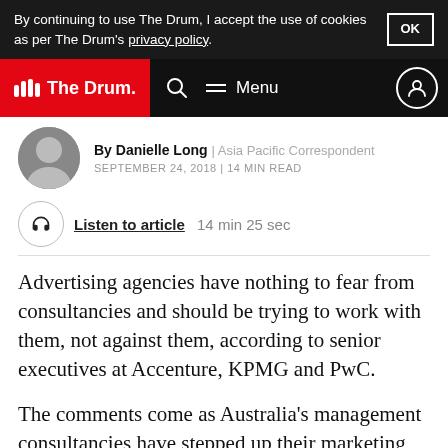By continuing to use The Drum, I accept the use of cookies as per The Drum's privacy policy.
The Drum — Menu navigation bar
By Danielle Long | Asia Pacific Correspondent
SEPTEMBER 24, 2018 | 14 MIN READ
Listen to article 14 min 25 sec
Advertising agencies have nothing to fear from consultancies and should be trying to work with them, not against them, according to senior executives at Accenture, KPMG and PwC.
The comments come as Australia's management consultancies have stepped up their marketing services divisions, hiring new talent from brand